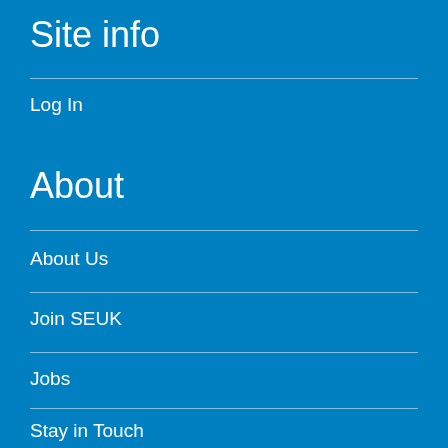Site info
Log In
About
About Us
Join SEUK
Jobs
Stay in Touch
Our work